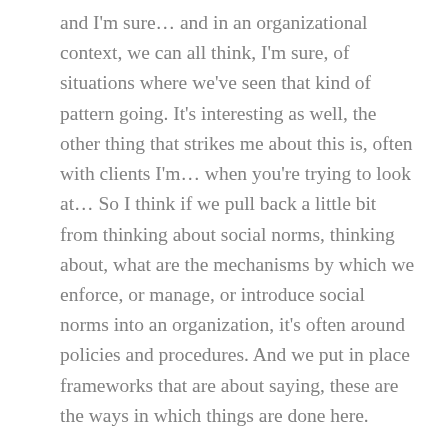and I'm sure… and in an organizational context, we can all think, I'm sure, of situations where we've seen that kind of pattern going. It's interesting as well, the other thing that strikes me about this is, often with clients I'm… when you're trying to look at… So I think if we pull back a little bit from thinking about social norms, thinking about, what are the mechanisms by which we enforce, or manage, or introduce social norms into an organization, it's often around policies and procedures. And we put in place frameworks that are about saying, these are the ways in which things are done here.